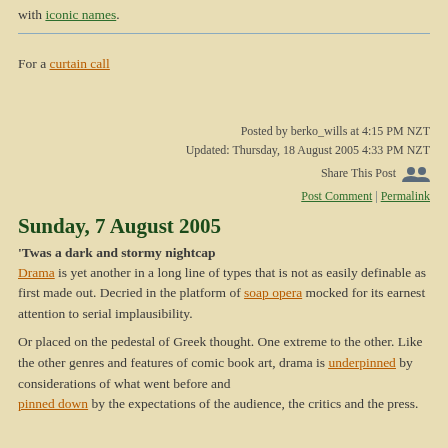with iconic names.
For a curtain call
Posted by berko_wills at 4:15 PM NZT
Updated: Thursday, 18 August 2005 4:33 PM NZT
Share This Post
Post Comment | Permalink
Sunday, 7 August 2005
'Twas a dark and stormy nightcap
Drama is yet another in a long line of types that is not as easily definable as first made out. Decried in the platform of soap opera mocked for its earnest attention to serial implausibility.
Or placed on the pedestal of Greek thought. One extreme to the other. Like the other genres and features of comic book art, drama is underpinned by considerations of what went before and pinned down by the expectations of the audience, the critics and the press.